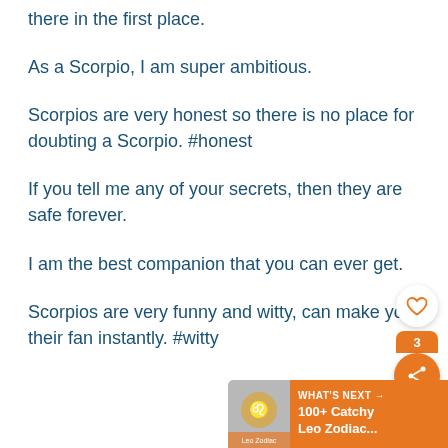there in the first place.
As a Scorpio, I am super ambitious.
Scorpios are very honest so there is no place for doubting a Scorpio. #honest
If you tell me any of your secrets, then they are safe forever.
I am the best companion that you can ever get.
Scorpios are very funny and witty, can make you their fan instantly. #witty
[Figure (infographic): UI overlay: heart/like button and share button with count of 3]
[Figure (infographic): What's Next banner: Leo Zodiac thumbnail with text '100+ Catchy Leo Zodiac...']